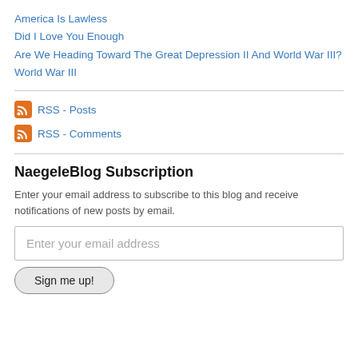America Is Lawless
Did I Love You Enough
Are We Heading Toward The Great Depression II And World War III?
World War III
RSS - Posts
RSS - Comments
NaegeleBlog Subscription
Enter your email address to subscribe to this blog and receive notifications of new posts by email.
Enter your email address
Sign me up!